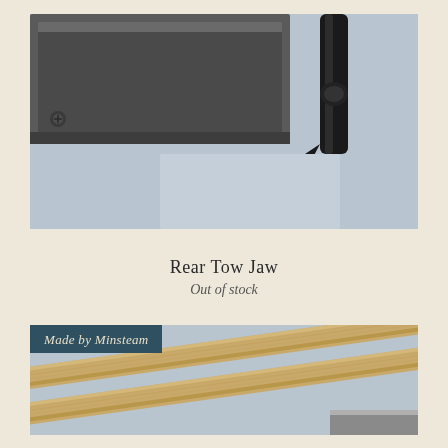[Figure (photo): Close-up photo of a metal clamp or tow jaw hardware piece with a black C-clamp handle against a light blue-grey background]
Rear Tow Jaw
Out of stock
[Figure (photo): Photo of two narrow strips of light-colored wood (balsa or similar) laid diagonally across a light blue-grey background with a metal edge visible at bottom right, with a 'Made by Minsteam' badge overlay]
Made by Minsteam